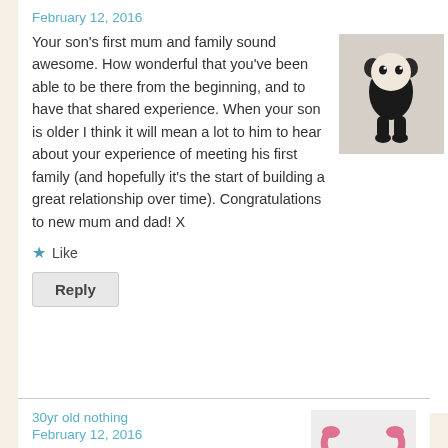February 12, 2016
Your son's first mum and family sound awesome. How wonderful that you've been able to be there from the beginning, and to have that shared experience. When your son is older I think it will mean a lot to him to hear about your experience of meeting his first family (and hopefully it's the start of building a great relationship over time). Congratulations to new mum and dad! X
[Figure (illustration): Avatar image of a cartoon character in a dark outfit]
Like
Reply
30yr old nothing
February 12, 2016
Congratulations MPB family… I love everything about this post. xx
[Figure (illustration): Avatar image of a pink crocheted uterus toy]